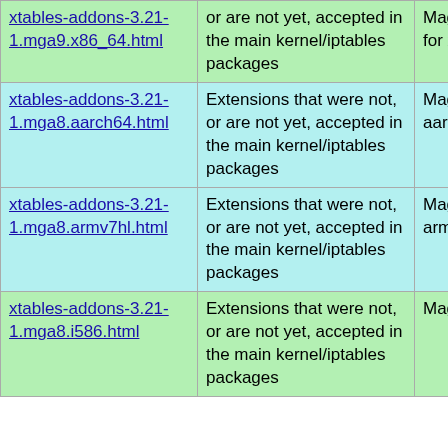| Package | Description | Repository | Source |
| --- | --- | --- | --- |
| xtables-addons-3.21-1.mga9.x86_64.html | or are not yet, accepted in the main kernel/iptables packages | Mageia Cauldron for x86_64 | xtables-ad... 1.mga9.x8... |
| xtables-addons-3.21-1.mga8.aarch64.html | Extensions that were not, or are not yet, accepted in the main kernel/iptables packages | Mageia 8 for aarch64 | xtables-ad... 1.mga8.aa... |
| xtables-addons-3.21-1.mga8.armv7hl.html | Extensions that were not, or are not yet, accepted in the main kernel/iptables packages | Mageia 8 for armv7hl | xtables-ad... 1.mga8.ar... |
| xtables-addons-3.21-1.mga8.i586.html | Extensions that were not, or are not yet, accepted in the main kernel/iptables packages | Mageia 8 for i586 | xtables-ad... 1.mga8.i5... |